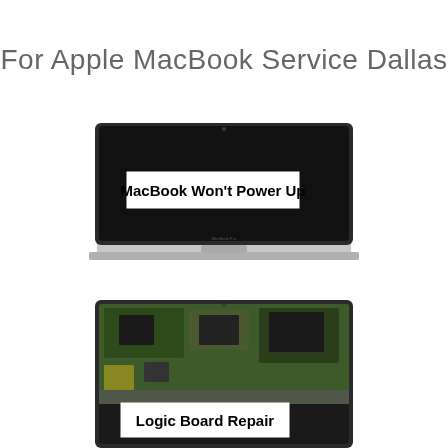For Apple MacBook Service Dallas
[Figure (photo): MacBook Pro laptop with black screen displaying white text box reading 'MacBook Won't Power Up']
[Figure (photo): MacBook laptop screen showing logic board/motherboard image with white text box reading 'Logic Board Repair']